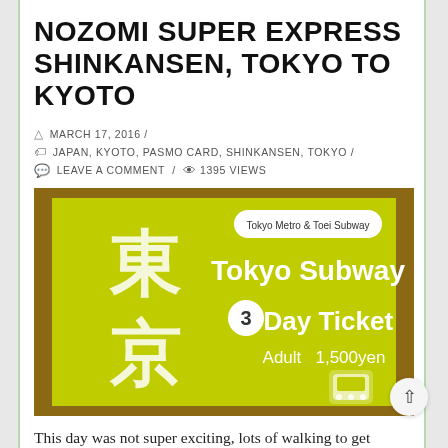NOZOMI SUPER EXPRESS SHINKANSEN, TOKYO TO KYOTO
MARCH 17, 2016 /
JAPAN, KYOTO, PASMO CARD, SHINKANSEN, TOKYO /
LEAVE A COMMENT / 1395 VIEWS
[Figure (photo): Tokyo Subway 3-Day Ticket (Adult 1,500 yen) — a green card showing Tokyo Metro & Toei Subway branding, Japanese characters (東京), a circled number 3, and a train icon.]
This day was not super exciting, lots of walking to get through the subway system and onto the high speed train to Kyoto. The bullet trains, or